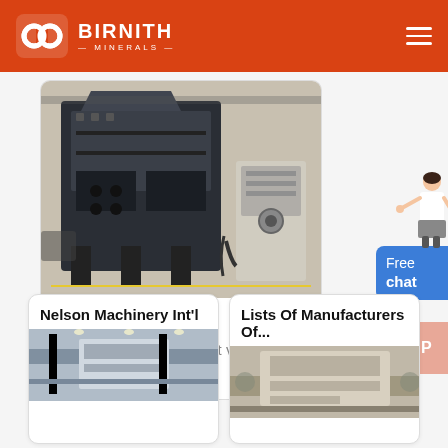BIRNITH MINERALS
[Figure (photo): VSI5X crusher machine in industrial setting]
VSI5X Crusher
VSI5X crusher (the latest vertical shaft...
[Figure (illustration): Free chat widget with woman figure and blue button]
[Figure (other): TOP scroll-to-top button in salmon/peach color]
Nelson Machinery Int'l
[Figure (photo): Industrial machinery interior photo]
Lists Of Manufacturers Of...
[Figure (photo): Industrial machinery interior photo 2]